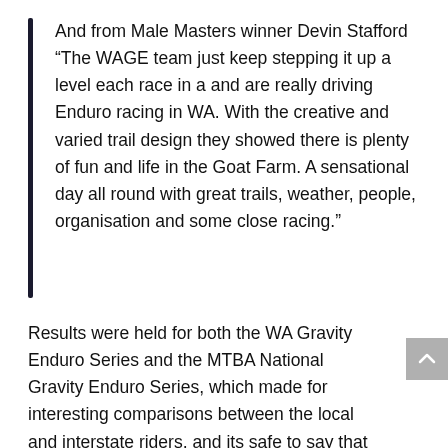And from Male Masters winner Devin Stafford “The WAGE team just keep stepping it up a level each race in a and are really driving Enduro racing in WA. With the creative and varied trail design they showed there is plenty of fun and life in the Goat Farm. A sensational day all round with great trails, weather, people, organisation and some close racing.”
Results were held for both the WA Gravity Enduro Series and the MTBA National Gravity Enduro Series, which made for interesting comparisons between the local and interstate riders, and its safe to say that sandgropers can ride, and ride well!